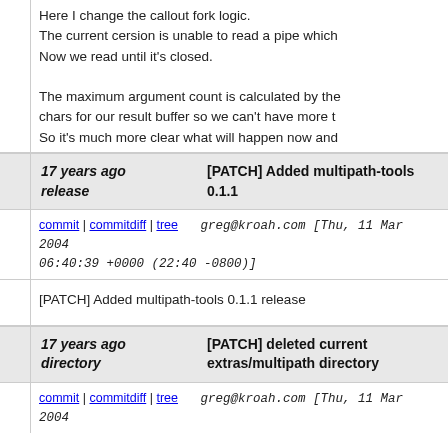Here I change the callout fork logic.
The current cersion is unable to read a pipe which
Now we read until it's closed.

The maximum argument count is calculated by the
chars for our result buffer so we can't have more t
So it's much more clear what will happen now and
where we use shell behind it.

Parameter can be combined to one by using apos

this on works now:
  BUS="scsi", PROGRAM="/bin/sh -
c 'echo foo3 foo4 foo5 foo6 foo7 foo8 foo9 | sed s

Two new test are also added.
17 years ago release
[PATCH] Added multipath-tools 0.1.1
commit | commitdiff | tree   greg@kroah.com [Thu, 11 Mar 2004 06:40:39 +0000 (22:40 -0800)]
[PATCH] Added multipath-tools 0.1.1 release
17 years ago directory
[PATCH] deleted current extras/multipath directory
commit | commitdiff | tree   greg@kroah.com [Thu, 11 Mar 2004